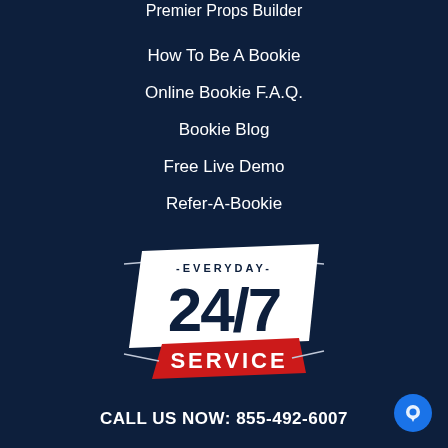Premier Props Builder
How To Be A Bookie
Online Bookie F.A.Q.
Bookie Blog
Free Live Demo
Refer-A-Bookie
[Figure (logo): 24/7 EVERYDAY SERVICE badge graphic with white parallelogram background, red SERVICE banner, dark navy bold text showing 24/7, and decorative lines]
CALL US NOW: 855-492-6007